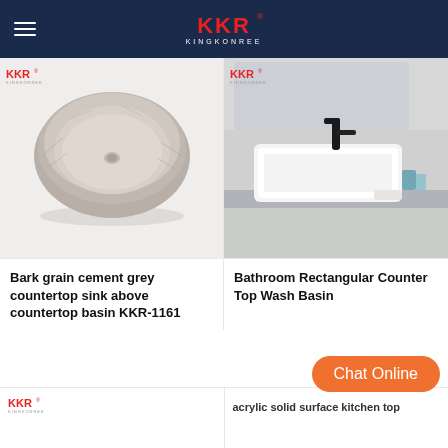KKR KINGKONREE
[Figure (photo): Bark grain cement grey countertop sink, hemispherical bowl shape with textured exterior, top view on white background, with KKR logo in top left]
Bark grain cement grey countertop sink above countertop basin KKR-1161
[Figure (photo): Bathroom rectangular white countertop wash basin on grey shelf with black faucet and mirror in background, with KKR logo in top left]
Bathroom Rectangular Counter Top Wash Basin
[Figure (photo): Partial view of KKR product (bottom left), with KKR logo]
acrylic solid surface kitchen top